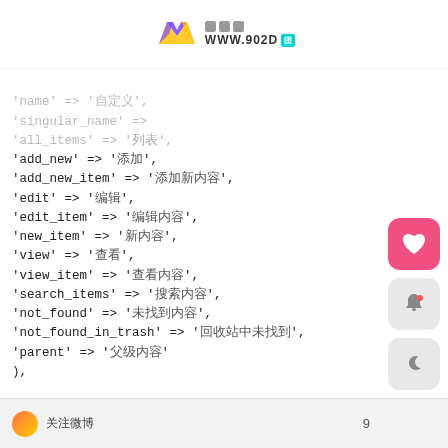WWW.902D logo header
Code block showing PHP array with keys: all_items, add_new, add_new_item, edit, edit_item, new_item, view, view_item, search_items, not_found, not_found_in_trash, parent, ), public => true, menu_position => 15, supports => array( 'title', 'editor', 'comments', 'custom-fields' ), taxonomies => array( '' ), has_archive => true
9